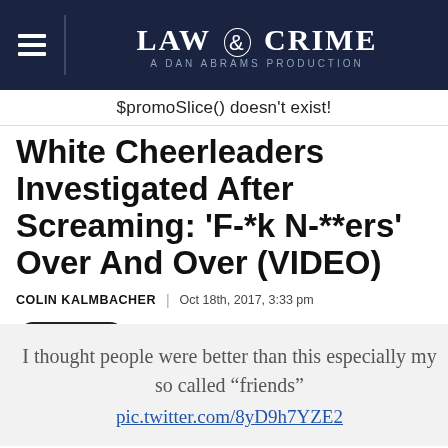LAW & CRIME — A DAN ABRAMS PRODUCTION
$promoSlice() doesn't exist!
White Cheerleaders Investigated After Screaming: 'F-*k N-**ers' Over And Over (VIDEO)
COLIN KALMBACHER | Oct 18th, 2017, 3:33 pm
SHARE
I thought people were better than this especially my so called “friends” pic.twitter.com/8yD9h7YZE2